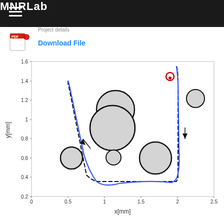MNRLab
Project details
Download File
[Figure (continuous-plot): 2D path planning plot showing two trajectories (solid blue and dashed black) navigating around circular obstacles of varying sizes. X-axis labeled x[mm] ranging from 0 to 2.5, Y-axis labeled y[mm] ranging from 0.2 to 1.6. Multiple gray-filled circles represent obstacles. A red circle marker indicates a start/goal point near (1.85, 1.5). Two arrows indicate direction of travel along the paths.]